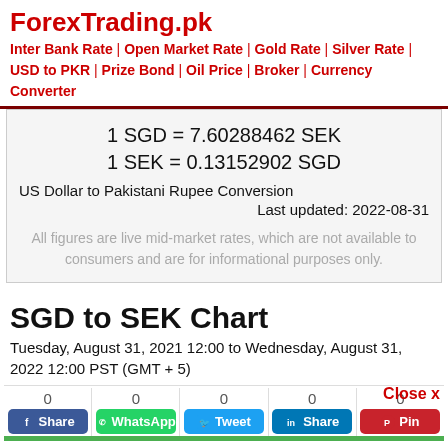ForexTrading.pk
Inter Bank Rate | Open Market Rate | Gold Rate | Silver Rate | USD to PKR | Prize Bond | Oil Price | Broker | Currency Converter
1 SGD = 7.60288462 SEK
1 SEK = 0.13152902 SGD
US Dollar to Pakistani Rupee Conversion
Last updated: 2022-08-31
All figures are live mid-market rates, which are not available to consumers and are for informational purposes only.
SGD to SEK Chart
Tuesday, August 31, 2021 12:00 to Wednesday, August 31, 2022 12:00 PST (GMT + 5)
Close x
[Figure (other): Social share buttons row: Facebook Share (0), WhatsApp (0), Tweet (0), LinkedIn Share (0), Pinterest Pin (0)]